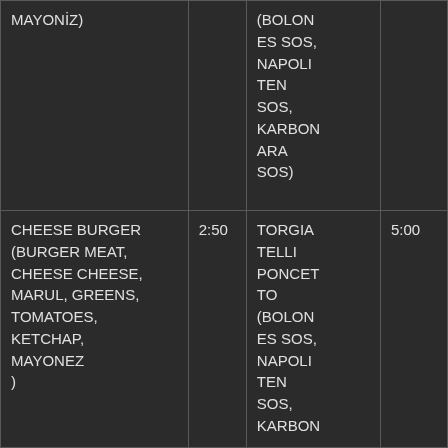| MAYONİZ) |  | (BOLONES SOS, NAPOLITEN SOS, KARBONARA SOS) |  |
| CHEESE BURGER (BURGER MEAT, CHEESE CHEESE, MARUL, GREENS, TOMATOES, KETCHAP, MAYONEZ ) | 2:50 | TORGIA TELLI PONCETTO (BOLONES SOS, NAPOLITEN SOS, KARBON | 5:00 |